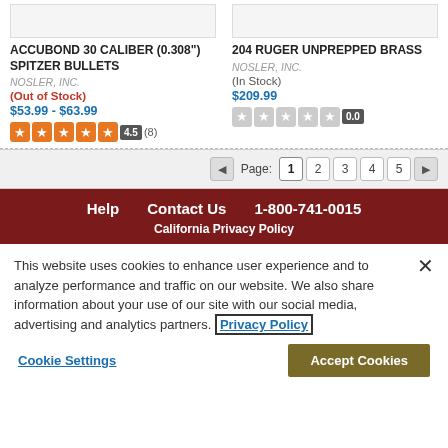ACCUBOND 30 CALIBER (0.308") SPITZER BULLETS
NOSLER, INC.
(Out of Stock)
$53.99 - $63.99
4.5 (8)
204 RUGER UNPREPPED BRASS
NOSLER, INC.
(In Stock)
$209.99
0.0
Page: 1 2 3 4 5
Help   Contact Us   1-800-741-0015
California Privacy Policy
This website uses cookies to enhance user experience and to analyze performance and traffic on our website. We also share information about your use of our site with our social media, advertising and analytics partners. Privacy Policy
Cookie Settings
Accept Cookies